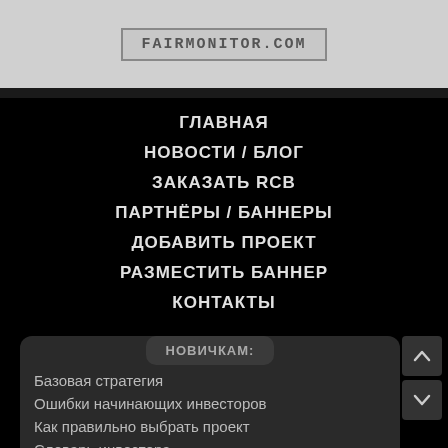[Figure (logo): FAIRMONITOR.COM logo in a bordered box on grey background]
ГЛАВНАЯ
НОВОСТИ / БЛОГ
ЗАКАЗАТЬ RCB
ПАРТНЁРЫ / БАННЕРЫ
ДОБАВИТЬ ПРОЕКТ
РАЗМЕСТИТЬ БАННЕР
КОНТАКТЫ
НОВИЧКАМ:
Базовая стратегия
Ошибки начинающих инвесторов
Как правильно выбрать проект
Словарь инвестора
Разновидности HYIP проектов
Что такое рефбек